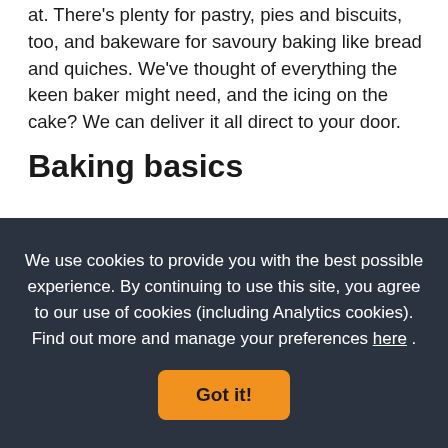at. There's plenty for pastry, pies and biscuits, too, and bakeware for savoury baking like bread and quiches. We've thought of everything the keen baker might need, and the icing on the cake? We can deliver it all direct to your door.
Baking basics
Baking is something of a fine art but creating a masterpiece rather than a mess in the kitchen becomes easier with practice - and the right baking utensils. A good mixing bowl, whisk and rolling pin are essential for budding bakers and experienced pastry chefs alike - you'll
We use cookies to provide you with the best possible experience. By continuing to use this site, you agree to our use of cookies (including Analytics cookies). Find out more and manage your preferences here .
Got it!
Perfect pastry